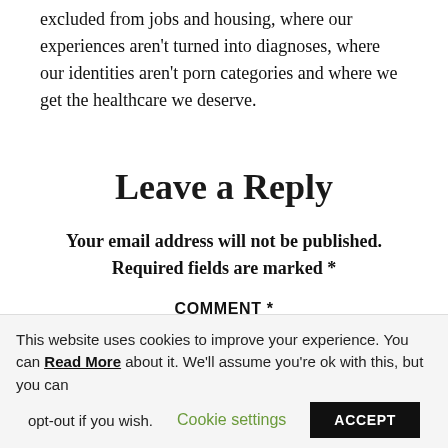excluded from jobs and housing, where our experiences aren't turned into diagnoses, where our identities aren't porn categories and where we get the healthcare we deserve.
Leave a Reply
Your email address will not be published. Required fields are marked *
COMMENT *
This website uses cookies to improve your experience. You can Read More about it. We'll assume you're ok with this, but you can opt-out if you wish. Cookie settings ACCEPT